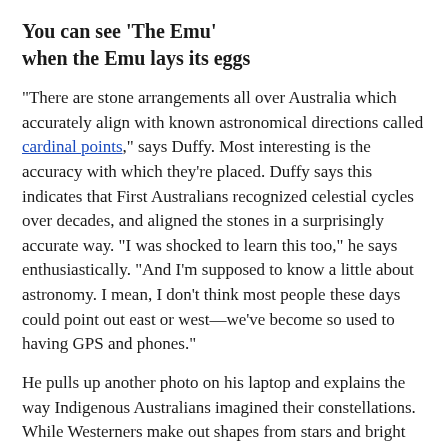You can see 'The Emu' when the Emu lays its eggs
"There are stone arrangements all over Australia which accurately align with known astronomical directions called cardinal points," says Duffy. Most interesting is the accuracy with which they're placed. Duffy says this indicates that First Australians recognized celestial cycles over decades, and aligned the stones in a surprisingly accurate way. "I was shocked to learn this too," he says enthusiastically. "And I'm supposed to know a little about astronomy. I mean, I don't think most people these days could point out east or west—we've become so used to having GPS and phones."
He pulls up another photo on his laptop and explains the way Indigenous Australians imagined their constellations. While Westerners make out shapes from stars and bright points, kind of like a join-the-dots puzzle, indigenous Australians saw pictures in the dark areas as well. Duffy points to an image on the screen as an example. It's a smudgy brown nebula with a line of black running down the middle. In that black line Aboriginal people saw an emu, while to Western astronomy most of the arrangement is called the Coalsack Nebula. "So you end up with the same sky seen in a completely different way."